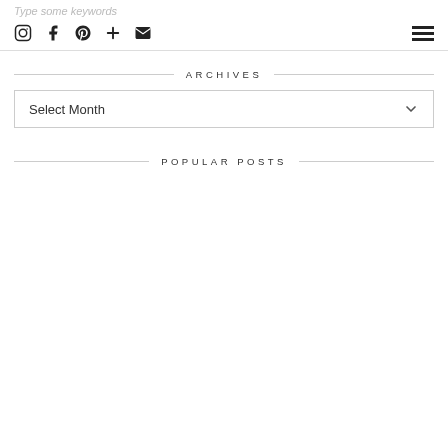Type some keywords
Social icons: Instagram, Facebook, Pinterest, Plus, Email, Menu
ARCHIVES
Select Month
POPULAR POSTS